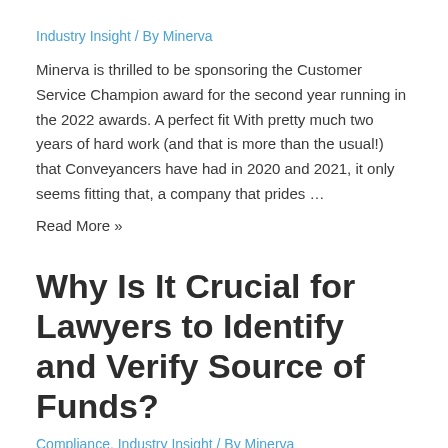Industry Insight / By Minerva
Minerva is thrilled to be sponsoring the Customer Service Champion award for the second year running in the 2022 awards.  A perfect fit With pretty much two years of hard work (and that is more than the usual!) that Conveyancers have had in 2020 and 2021, it only seems fitting that, a company that prides …
Read More »
Why Is It Crucial for Lawyers to Identify and Verify Source of Funds?
Compliance, Industry Insight / By Minerva
https://vimeo.com/649895714 Key takeaways from the webinar